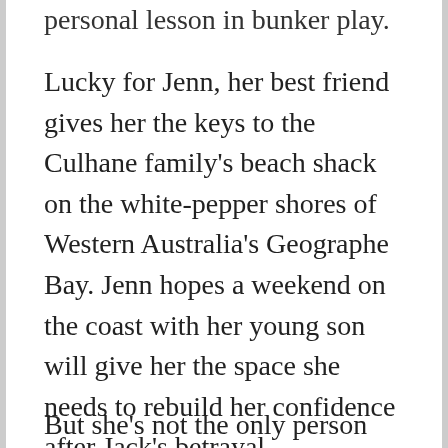personal lesson in bunker play.
Lucky for Jenn, her best friend gives her the keys to the Culhane family's beach shack on the white-pepper shores of Western Australia's Geographe Bay. Jenn hopes a weekend on the coast with her young son will give her the space she needs to rebuild her confidence after Jack's betrayal.
But she's not the only person seeking